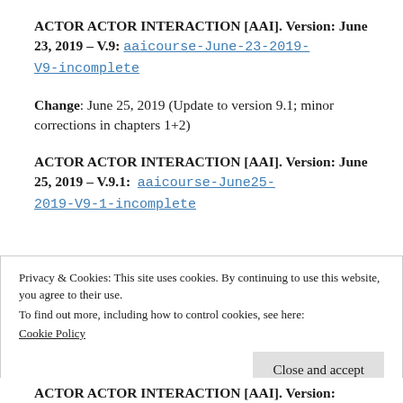ACTOR ACTOR INTERACTION [AAI]. Version: June 23, 2019 – V.9: aaicourse-June-23-2019-V9-incomplete
Change: June 25, 2019 (Update to version 9.1; minor corrections in chapters 1+2)
ACTOR ACTOR INTERACTION [AAI]. Version: June 25, 2019 – V.9.1: aaicourse-June25-2019-V9-1-incomplete
Privacy & Cookies: This site uses cookies. By continuing to use this website, you agree to their use. To find out more, including how to control cookies, see here: Cookie Policy
Close and accept
ACTOR ACTOR INTERACTION [AAI]. Version: